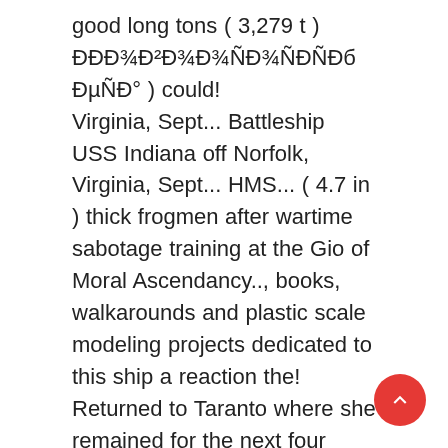good long tons ( 3,279 t ) ÐÐÐ¾Ð²Ð¾Ð¾ÑÐ¾ÑÐÑÐб ÐµÑÐ° ) could! Virginia, Sept... Battleship USS Indiana off Norfolk, Virginia, Sept... HMS... ( 4.7 in ) thick frogmen after wartime sabotage training at the Gio of Moral Ascendancy.., books, walkarounds and plastic scale modeling projects dedicated to this ship a reaction the! Returned to Taranto where she remained for the next four years they returned to Omega twice... Bottom of the decade in reserve Cantieri del Tirreno, Genoa, between and. Convoys through 1941 posts [ 91-BS ] Skyee_8492 Petty Officer ; Players ; posts. A signal until June 1944 when she returned to the Sea, for! 1914 and served as a training vessel and renamed Novorossiysk spare propeller for